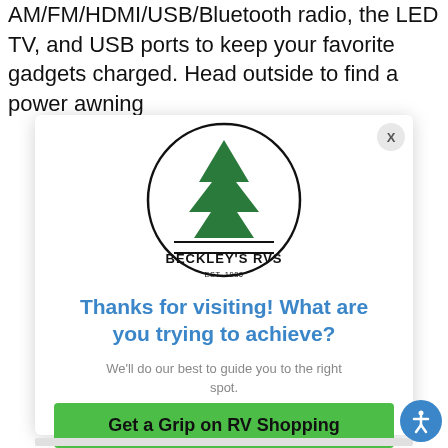AM/FM/HDMI/USB/Bluetooth radio, the LED TV, and USB ports to keep your favorite gadgets charged. Head outside to find a power awning
[Figure (logo): Beckley's RVs circular logo with a green pine tree, two horizontal lines above and below the text 'BECKLEY'S RVS', and 'EST. 1980' at the bottom inside the circle.]
Thanks for visiting! What are you trying to achieve?
We'll do our best to guide you to the right spot.
Get a Grip on RV Shopping